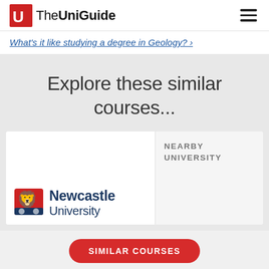The UniGuide
What's it like studying a degree in Geology?
Explore these similar courses...
NEARBY UNIVERSITY
[Figure (logo): Newcastle University logo with shield crest and text 'Newcastle University']
SIMILAR COURSES